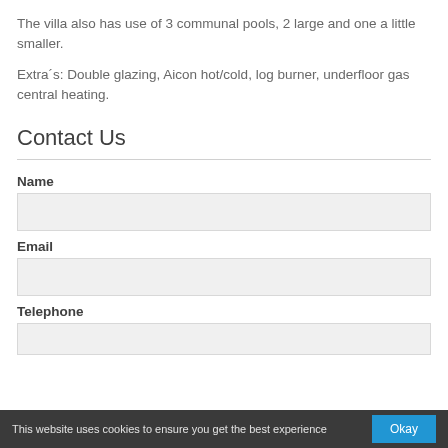The villa also has use of 3 communal pools, 2 large and one a little smaller.
Extra´s: Double glazing, Aicon hot/cold, log burner, underfloor gas central heating.
Contact Us
Name
Email
Telephone
This website uses cookies to ensure you get the best experience   Okay